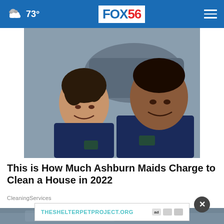73° FOX 56
[Figure (photo): Two women in navy blue polo shirts smiling, standing in front of a vehicle outdoors. Professional cleaning service workers.]
This is How Much Ashburn Maids Charge to Clean a House in 2022
CleaningServices
[Figure (screenshot): Advertisement banner for THESHELTERPETPROJECT.ORG with ad logos]
[Figure (photo): Partial bottom image visible behind advertisement overlay]